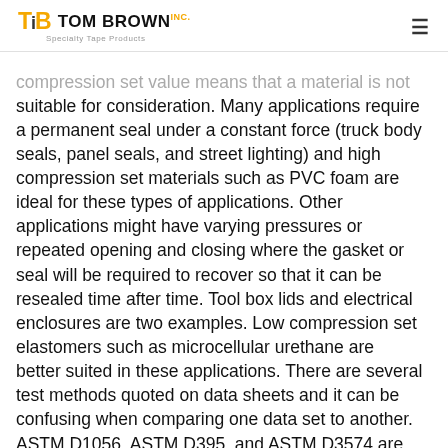Tom Brown Inc. — Specialty Tape Products
compression set value means that a material is not suitable for consideration. Many applications require a permanent seal under a constant force (truck body seals, panel seals, and street lighting) and high compression set materials such as PVC foam are ideal for these types of applications. Other applications might have varying pressures or repeated opening and closing where the gasket or seal will be required to recover so that it can be resealed time after time. Tool box lids and electrical enclosures are two examples. Low compression set elastomers such as microcellular urethane are better suited in these applications. There are several test methods quoted on data sheets and it can be confusing when comparing one data set to another. ASTM D1056, ASTM D395, and ASTM D3574 are commonly listed. Each test method has its' own